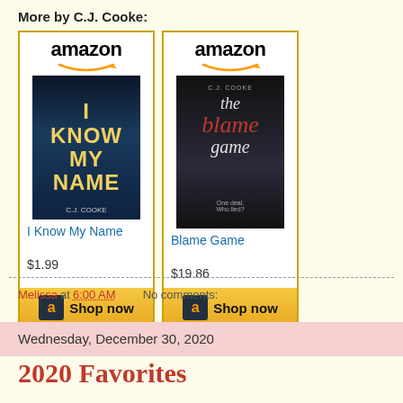More by C.J. Cooke:
[Figure (other): Two Amazon product cards showing books by C.J. Cooke: 'I Know My Name' at $1.99 and 'Blame Game' at $19.86, each with a Shop now button]
Melissa at 6:00 AM   No comments:
Wednesday, December 30, 2020
2020 Favorites